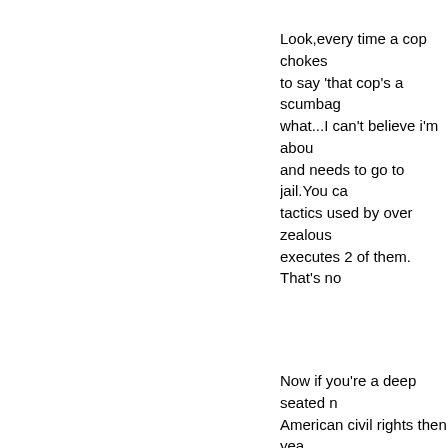Look,every time a cop chokes... to say 'that cop's a scumbag what...I can't believe i'm abou... and needs to go to jail.You ca... tactics used by over zealous ... executes 2 of them. That's no...
Now if you're a deep seated n... American civil rights then yea... political goldmine for you.Jus... and suddenly a high profile ra... on about it for weeks could al... you.Just like if an attack on a... i'm going with this.
But we won't stop.Kill anothe... and we'll have a thousand pr... gets raped at another ivy lea... cover it.
Like everything else you've m...